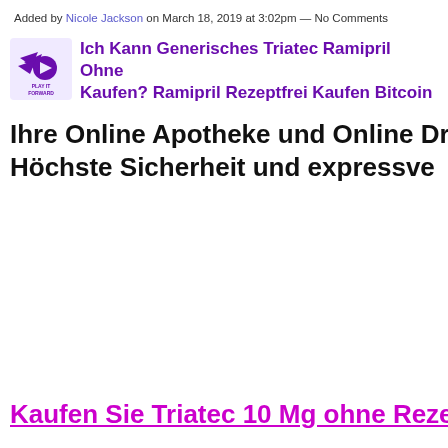Added by Nicole Jackson on March 18, 2019 at 3:02pm — No Comments
Ich Kann Generisches Triatec Ramipril Ohne Kaufen? Ramipril Rezeptfrei Kaufen Bitcoin
Ihre Online Apotheke und Online Dr Höchste Sicherheit und expressve
Kaufen Sie Triatec 10 Mg ohne Reze